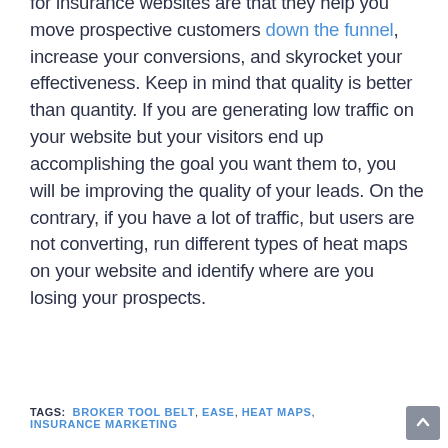for insurance websites are that they help you move prospective customers down the funnel, increase your conversions, and skyrocket your effectiveness. Keep in mind that quality is better than quantity. If you are generating low traffic on your website but your visitors end up accomplishing the goal you want them to, you will be improving the quality of your leads. On the contrary, if you have a lot of traffic, but users are not converting, run different types of heat maps on your website and identify where are you losing your prospects.
TAGS: BROKER TOOL BELT, EASE, HEAT MAPS, INSURANCE MARKETING